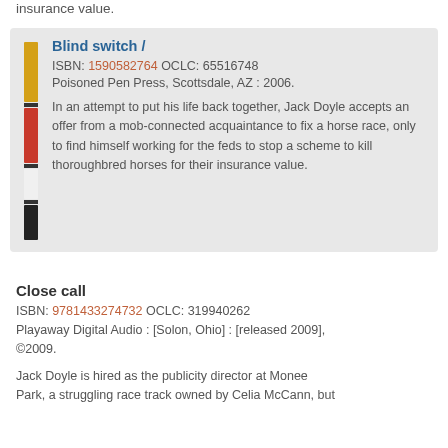insurance value.
Blind switch /
ISBN: 1590582764 OCLC: 65516748
Poisoned Pen Press, Scottsdale, AZ : 2006.
In an attempt to put his life back together, Jack Doyle accepts an offer from a mob-connected acquaintance to fix a horse race, only to find himself working for the feds to stop a scheme to kill thoroughbred horses for their insurance value.
Close call
ISBN: 9781433274732 OCLC: 319940262
Playaway Digital Audio : [Solon, Ohio] : [released 2009], ©2009.
Jack Doyle is hired as the publicity director at Monee Park, a struggling race track owned by Celia McCann, but